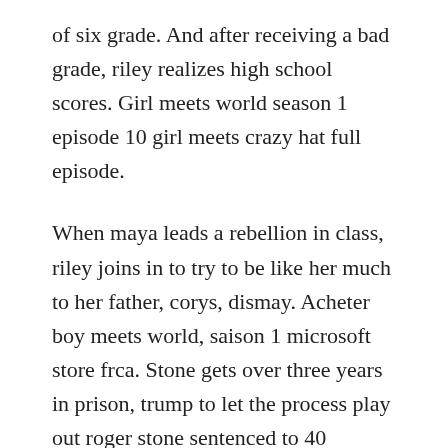of six grade. And after receiving a bad grade, riley realizes high school scores. Girl meets world season 1 episode 10 girl meets crazy hat full episode.
When maya leads a rebellion in class, riley joins in to try to be like her much to her father, corys, dismay. Acheter boy meets world, saison 1 microsoft store frca. Stone gets over three years in prison, trump to let the process play out roger stone sentenced to 40 months in prison. Jessie season 1 episode 10 english video dailymotion. A must see